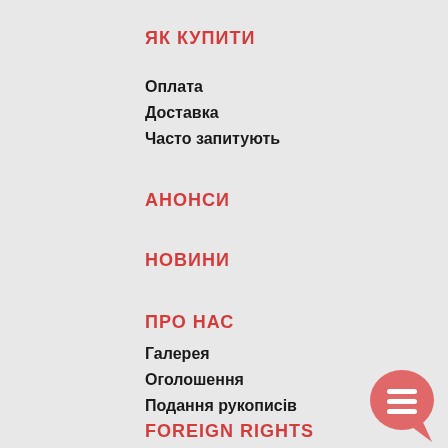ЯК КУПИТИ
Оплата
Доставка
Часто запитують
АНОНСИ
НОВИНИ
ПРО НАС
Галерея
Оголошення
Подання рукописів
Замовлення друку
Прайс
FOREIGN RIGHTS
[Figure (illustration): Red speech bubble icon with three horizontal lines (hamburger/menu icon)]